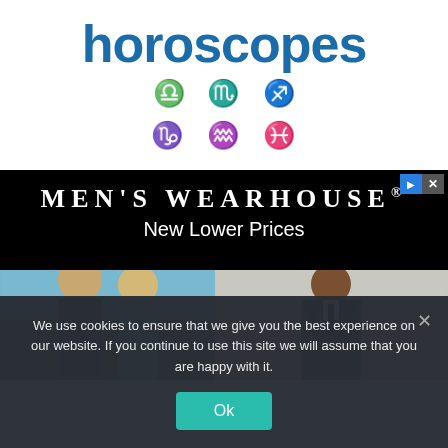horoscopes
[Figure (illustration): Six zodiac symbols in blue: Libra, Scorpio, Sagittarius, Capricorn, Aquarius, Pisces]
[Figure (screenshot): Men's Wearhouse advertisement banner with black background, 'MEN'S WEARHOUSE® New Lower Prices' text, photos of people including man in suit]
We use cookies to ensure that we give you the best experience on our website. If you continue to use this site we will assume that you are happy with it.